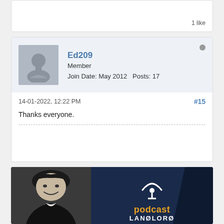1 like
Ed209
Member
Join Date: May 2012  Posts: 17
14-01-2022, 12:22 PM
#15
Thanks everyone.
[Figure (illustration): Podcast banner with dark navy background, a smiling man in black and white on the left, podcast signal icon and the word 'podcast' in orange in the center, and partial text 'LANDLORD' at the bottom]